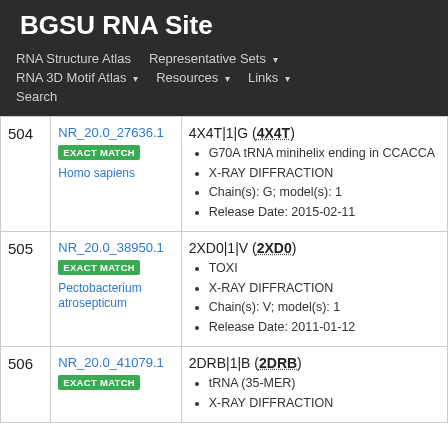BGSU RNA Site
RNA Structure Atlas | Representative Sets ▾ | RNA 3D Motif Atlas ▾ | Resources ▾ | Links ▾ | Search
| # | ID | Details |
| --- | --- | --- |
| 504 | NR_20.0_27636.1
EXACT MATCH
Homo sapiens | 4X4T|1|G (4X4T)
• G70A tRNA minihelix ending in CCACCA
• X-RAY DIFFRACTION
• Chain(s): G; model(s): 1
• Release Date: 2015-02-11 |
| 505 | NR_20.0_38950.1
EXACT MATCH
Pectobacterium atrosepticum | 2XD0|1|V (2XD0)
• TOXI
• X-RAY DIFFRACTION
• Chain(s): V; model(s): 1
• Release Date: 2011-01-12 |
| 506 | NR_20.0_41079.1
EXACT MATCH
 | 2DRB|1|B (2DRB)
• tRNA (35-MER)
• X-RAY DIFFRACTION |